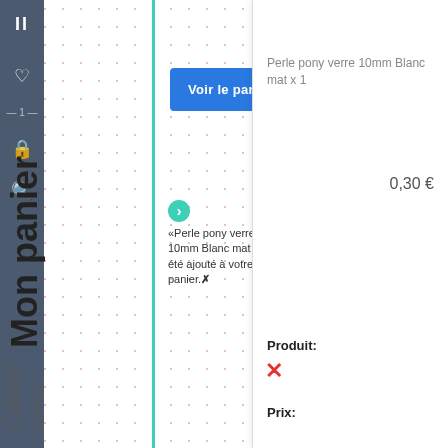[Figure (screenshot): E-commerce website screenshot showing 'Mon panier' (shopping cart) page with a notification that 'Perle pony verre 10mm Blanc mat x 1' has been added to cart, with a 'Voir le panier' button and cart sidebar showing the product at 0,30 €]
Mon panier
«Perle pony verre 10mm Blanc mat x 1» a été ajouté à votre panier.✗
Voir le panier
Produit:
Perle pony verre 10mm Blanc mat x 1
Prix:
0,30 €